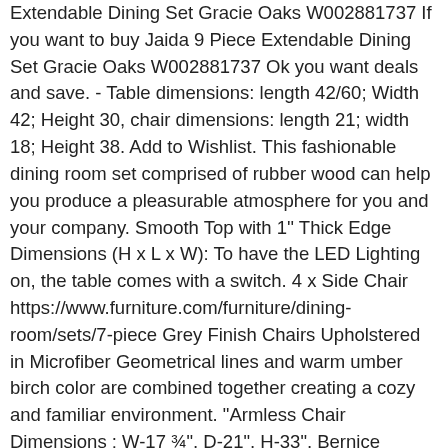Extendable Dining Set Gracie Oaks W002881737 If you want to buy Jaida 9 Piece Extendable Dining Set Gracie Oaks W002881737 Ok you want deals and save. - Table dimensions: length 42/60; Width 42; Height 30, chair dimensions: length 21; width 18; Height 38. Add to Wishlist. This fashionable dining room set comprised of rubber wood can help you produce a pleasurable atmosphere for you and your company. Smooth Top with 1'' Thick Edge Dimensions (H x L x W): To have the LED Lighting on, the table comes with a switch. 4 x Side Chair https://www.furniture.com/furniture/dining-room/sets/7-piece Grey Finish Chairs Upholstered in Microfiber Geometrical lines and warm umber birch color are combined together creating a cozy and familiar environment. "Armless Chair Dimensions : W-17 ¾", D-21", H-33", Bernice Transitional Style Brown Wood Glass Finish 7 Piece Dining Table Set, The Bernice dining collection is a place for family togetherness and conversation, making the dining area a musthave for every home. With Durable Construction High End Look Frame Material: Wood/Composite Create a cozy, classic, and inviting spot for gathering with this positively charming dining set. Dining Table